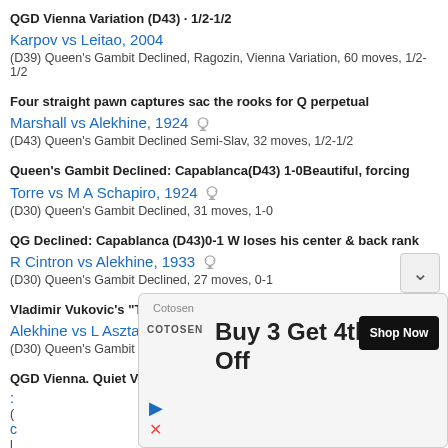QGD Vienna Variation (D43) · 1/2-1/2
Karpov vs Leitao, 2004
(D39) Queen's Gambit Declined, Ragozin, Vienna Variation, 60 moves, 1/2-1/2
Four straight pawn captures sac the rooks for Q perpetual
Marshall vs Alekhine, 1924
(D43) Queen's Gambit Declined Semi-Slav, 32 moves, 1/2-1/2
Queen's Gambit Declined: Capablanca(D43) 1-0Beautiful, forcing
Torre vs M A Schapiro, 1924
(D30) Queen's Gambit Declined, 31 moves, 1-0
QG Declined: Capablanca (D43)0-1 W loses his center & back rank
R Cintron vs Alekhine, 1933
(D30) Queen's Gambit Declined, 27 moves, 0-1
Vladimir Vukovic's "The Art of Attack in Chess" 42.Nxf7 blunder
Alekhine vs L Asztalos, 1927
(D30) Queen's Gambit Declined, 42 moves, 1-0
QGD Vienna. Quiet Variation (D44) 1-0 Queen mated
[Figure (screenshot): Advertisement overlay: Cotosen brand ad 'Buy 3 Get 4th 40% Off' with Shop Now button, play and close icons]